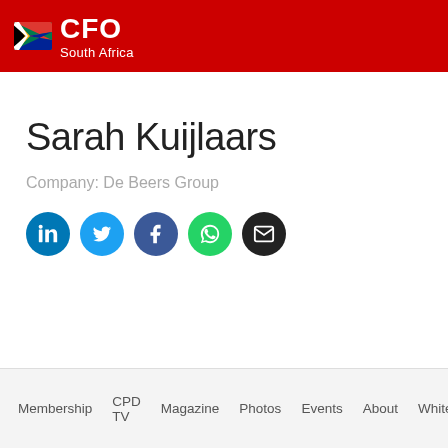CFO South Africa
Sarah Kuijlaars
Company: De Beers Group
[Figure (infographic): Row of five social media icon circles: LinkedIn (blue), Twitter (light blue), Facebook (dark blue), WhatsApp (green), Email (black)]
Membership   CPD TV   Magazine   Photos   Events   About   Whitepap…